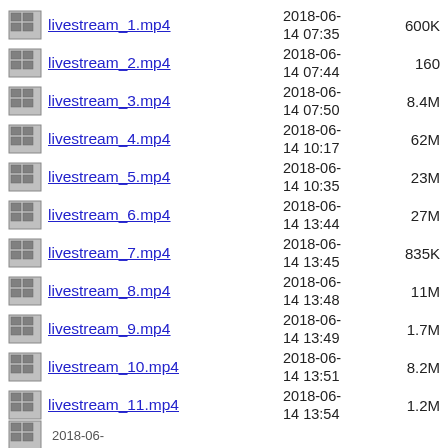livestream_1.mp4  2018-06-14 07:35  600K
livestream_2.mp4  2018-06-14 07:44  160
livestream_3.mp4  2018-06-14 07:50  8.4M
livestream_4.mp4  2018-06-14 10:17  62M
livestream_5.mp4  2018-06-14 10:35  23M
livestream_6.mp4  2018-06-14 13:44  27M
livestream_7.mp4  2018-06-14 13:45  835K
livestream_8.mp4  2018-06-14 13:48  11M
livestream_9.mp4  2018-06-14 13:49  1.7M
livestream_10.mp4  2018-06-14 13:51  8.2M
livestream_11.mp4  2018-06-14 13:54  1.2M